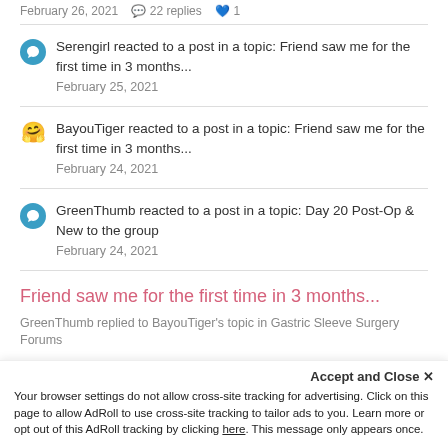February 26, 2021   22 replies   1
Serengirl reacted to a post in a topic: Friend saw me for the first time in 3 months... — February 25, 2021
BayouTiger reacted to a post in a topic: Friend saw me for the first time in 3 months... — February 24, 2021
GreenThumb reacted to a post in a topic: Day 20 Post-Op & New to the group — February 24, 2021
Friend saw me for the first time in 3 months...
GreenThumb replied to BayouTiger's topic in Gastric Sleeve Surgery Forums
This has been an incredibly helpful thread. I suspect most of us have had similar experiences to all that
Accept and Close ×
Your browser settings do not allow cross-site tracking for advertising. Click on this page to allow AdRoll to use cross-site tracking to tailor ads to you. Learn more or opt out of this AdRoll tracking by clicking here. This message only appears once.